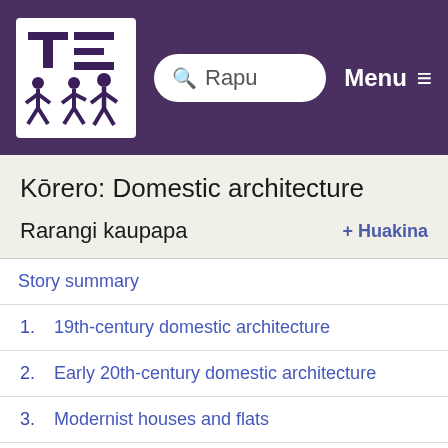Te Ara — Rapu | Menu
Kōrero: Domestic architecture
Rarangi kaupapa + Huakina
Story summary
1. 19th-century domestic architecture
2. Early 20th-century domestic architecture
3. Modernist houses and flats
4. Late modern domestic architecture
Whārangi 5. Postmodern and neo-modern